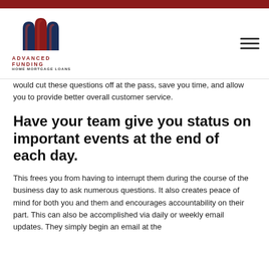[Figure (logo): Advanced Funding Home Mortgage Loans logo with stylized red and navy arch shapes above the company name text]
would cut these questions off at the pass, save you time, and allow you to provide better overall customer service.
Have your team give you status on important events at the end of each day.
This frees you from having to interrupt them during the course of the business day to ask numerous questions. It also creates peace of mind for both you and them and encourages accountability on their part. This can also be accomplished via daily or weekly email updates. They simply begin an email at the